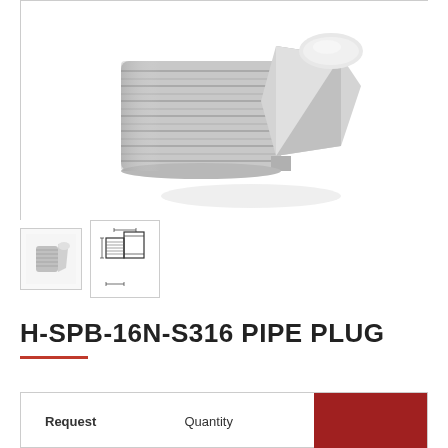[Figure (photo): Large product photo of H-SPB-16N-S316 stainless steel pipe plug, showing a silver hexagonal head bolt/plug with threaded shaft, viewed from a 3/4 angle perspective against white background]
[Figure (photo): Small thumbnail photo of the pipe plug from a different angle, showing the cylindrical body]
[Figure (engineering-diagram): Small thumbnail schematic/technical drawing of the pipe plug showing cross-section with hexagonal head and threaded body]
H-SPB-16N-S316 PIPE PLUG
| Request | Quantity |  |
| --- | --- | --- |
|  |  |  |